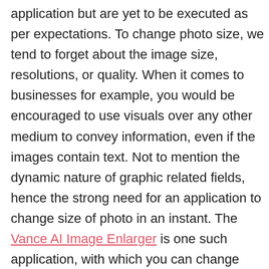application but are yet to be executed as per expectations. To change photo size, we tend to forget about the image size, resolutions, or quality. When it comes to businesses for example, you would be encouraged to use visuals over any other medium to convey information, even if the images contain text. Not to mention the dynamic nature of graphic related fields, hence the strong need for an application to change size of photo in an instant. The Vance AI Image Enlarger is one such application, with which you can change photos size. It is an application that is based on modern image processing techniques that can enlarge image with ease. If you want to jump straight into it, there is a guide on 'how to change photo size' with the AI